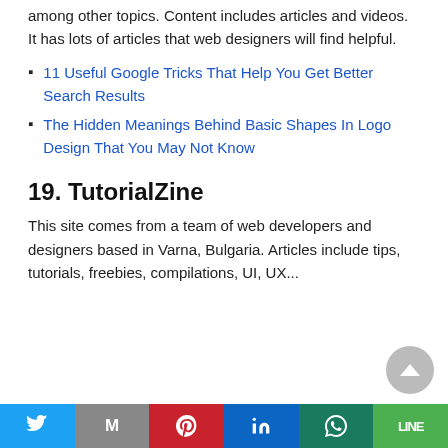among other topics. Content includes articles and videos. It has lots of articles that web designers will find helpful.
11 Useful Google Tricks That Help You Get Better Search Results
The Hidden Meanings Behind Basic Shapes In Logo Design That You May Not Know
19. TutorialZine
This site comes from a team of web developers and designers based in Varna, Bulgaria. Articles include tips, tutorials, freebies, compilations, UI, UX among other topics. The article...